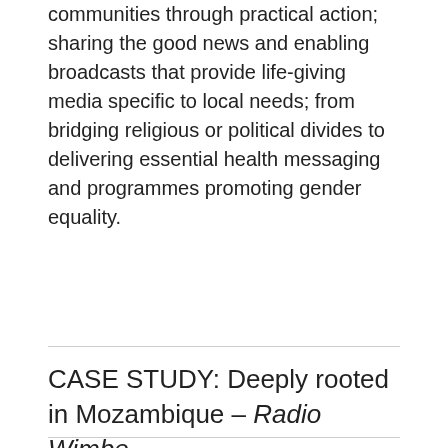communities through practical action; sharing the good news and enabling broadcasts that provide life-giving media specific to local needs; from bridging religious or political divides to delivering essential health messaging and programmes promoting gender equality.
CASE STUDY: Deeply rooted in Mozambique – Radio Wimbe
[Figure (photo): Two photos side by side: left shows a woman in colorful clothing sitting with a radio; right shows a young man in a green shirt working with equipment]